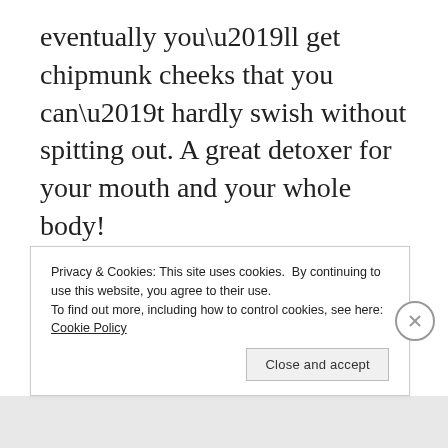eventually you’ll get chipmunk cheeks that you can’t hardly swish without spitting out. A great detoxer for your mouth and your whole body!
Baking Soda as a Toothpaste Substitute
What I’m doing: Wetting my
Privacy & Cookies: This site uses cookies. By continuing to use this website, you agree to their use.
To find out more, including how to control cookies, see here: Cookie Policy
Close and accept